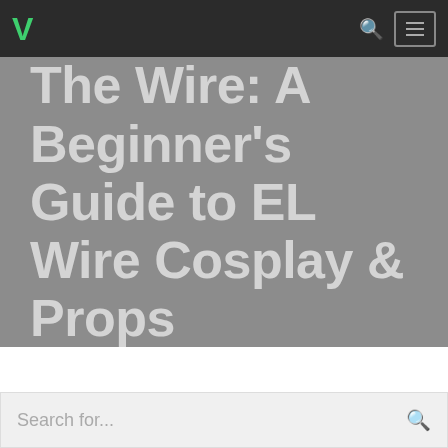V [logo] | search | menu
The Wire: A Beginner's Guide to EL Wire Cosplay & Props
Search for...